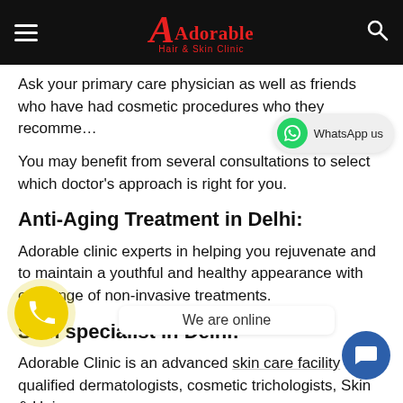Adorable Hair & Skin Clinic
Ask your primary care physician as well as friends who have had cosmetic procedures who they recomme…
You may benefit from several consultations to select which doctor's approach is right for you.
Anti-Aging Treatment in Delhi:
Adorable clinic experts in helping you rejuvenate and to maintain a youthful and healthy appearance with our range of non-invasive treatments.
Skin specialist in Delhi:
Adorable Clinic is an advanced skin care facility with qualified dermatologists, cosmetic trichologists, Skin & Hair